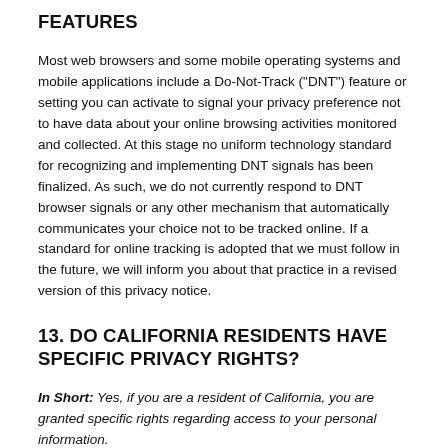FEATURES
Most web browsers and some mobile operating systems and mobile applications include a Do-Not-Track ("DNT") feature or setting you can activate to signal your privacy preference not to have data about your online browsing activities monitored and collected. At this stage no uniform technology standard for recognizing and implementing DNT signals has been finalized. As such, we do not currently respond to DNT browser signals or any other mechanism that automatically communicates your choice not to be tracked online. If a standard for online tracking is adopted that we must follow in the future, we will inform you about that practice in a revised version of this privacy notice.
13. DO CALIFORNIA RESIDENTS HAVE SPECIFIC PRIVACY RIGHTS?
In Short:  Yes, if you are a resident of California, you are granted specific rights regarding access to your personal information.